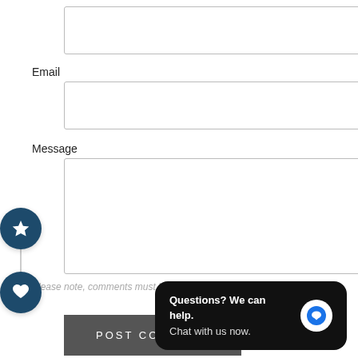[Figure (screenshot): Empty text input box for a form field (top, no label visible)]
Email
[Figure (screenshot): Empty text input box for Email field]
Message
[Figure (screenshot): Empty textarea for Message field with social sharing buttons (star and heart) overlaid on the left side]
Please note, comments must be approved before they are published
[Figure (screenshot): POST COMMENT button (dark grey)]
[Figure (screenshot): Chat popup: Questions? We can help. Chat with us now. with blue chat icon]